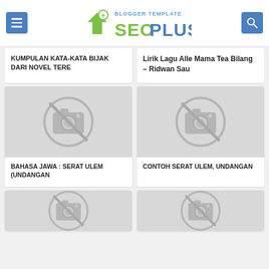SEO PLUS Blogger Template
KUMPULAN KATA-KATA BIJAK DARI NOVEL TERE
Lirik Lagu Alle Mama Tea Bilang – Ridwan Sau
[Figure (illustration): No image placeholder icon (camera with slash)]
BAHASA JAWA : SERAT ULEM (UNDANGAN
[Figure (illustration): No image placeholder icon (camera with slash)]
CONTOH SERAT ULEM, UNDANGAN
[Figure (illustration): No image placeholder icon (camera with slash) - partially visible]
[Figure (illustration): No image placeholder icon (camera with slash) - partially visible]